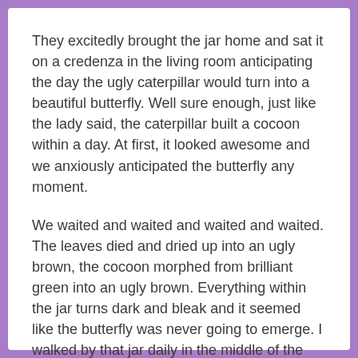They excitedly brought the jar home and sat it on a credenza in the living room anticipating the day the ugly caterpillar would turn into a beautiful butterfly. Well sure enough, just like the lady said, the caterpillar built a cocoon within a day. At first, it looked awesome and we anxiously anticipated the butterfly any moment.
We waited and waited and waited and waited. The leaves died and dried up into an ugly brown, the cocoon morphed from brilliant green into an ugly brown. Everything within the jar turns dark and bleak and it seemed like the butterfly was never going to emerge. I walked by that jar daily in the middle of the living room wondering if it ever would turn in to a butterfly.